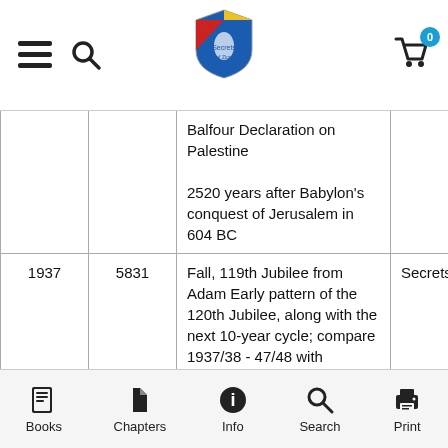Navigation bar with menu, search, logo, and cart icons
| Year | Hebrew Year | Event/Note | Source |
| --- | --- | --- | --- |
|  |  | Balfour Declaration on Palestine

2520 years after Babylon's conquest of Jerusalem in 604 BC |  |
| 1937 | 5831 | Fall, 119th Jubilee from Adam Early pattern of the 120th Jubilee, along with the next 10-year cycle; compare 1937/38 - 47/48 with 1986/87 - 96/97

414 rest years (sabbaths) from the fall of Jerusalem (604 BC) | Secrets |
Books | Chapters | Info | Search | Print